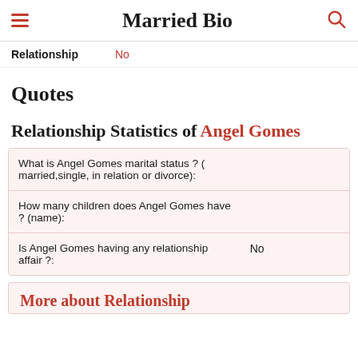Married Bio
|  |  |
| --- | --- |
| Relationship | No |
Quotes
Relationship Statistics of Angel Gomes
| Question | Answer |
| --- | --- |
| What is Angel Gomes marital status ? ( married,single, in relation or divorce): |  |
| How many children does Angel Gomes have ? (name): |  |
| Is Angel Gomes having any relationship affair ?: | No |
More about Relationship